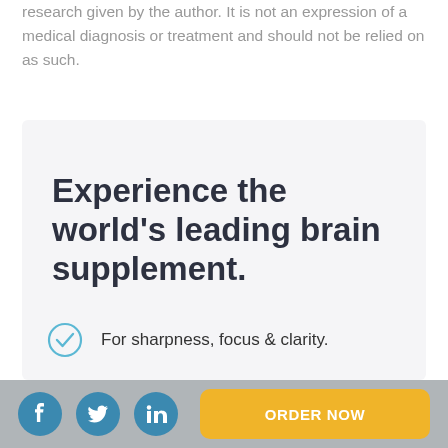research given by the author. It is not an expression of a medical diagnosis or treatment and should not be relied on as such.
Experience the world's leading brain supplement.
For sharpness, focus & clarity.
ORDER NOW